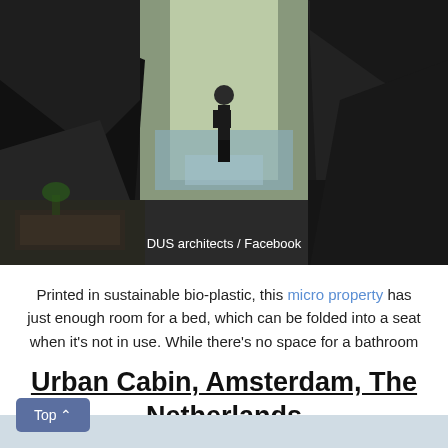[Figure (photo): Photo of a person walking away through a dark geometric doorway toward a sunlit outdoor path, with trees and water visible in the background. Interior shows a bed/seating area.]
DUS architects / Facebook
Printed in sustainable bio-plastic, this micro property has just enough room for a bed, which can be folded into a seat when it's not in use. While there's no space for a bathroom in the 86-square-foot space, you'll find a 3D-printed bath in the garden for the less-than-bashful.
Urban Cabin, Amsterdam, The Netherlands
[Figure (photo): Photo of a small cabin or structure among trees with a light grey sky, trees visible in foreground and background.]